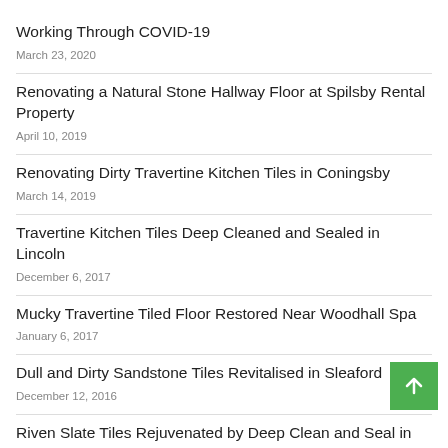Working Through COVID-19
March 23, 2020
Renovating a Natural Stone Hallway Floor at Spilsby Rental Property
April 10, 2019
Renovating Dirty Travertine Kitchen Tiles in Coningsby
March 14, 2019
Travertine Kitchen Tiles Deep Cleaned and Sealed in Lincoln
December 6, 2017
Mucky Travertine Tiled Floor Restored Near Woodhall Spa
January 6, 2017
Dull and Dirty Sandstone Tiles Revitalised in Sleaford
December 12, 2016
Riven Slate Tiles Rejuvenated by Deep Clean and Seal in Boston
November 6, 2016